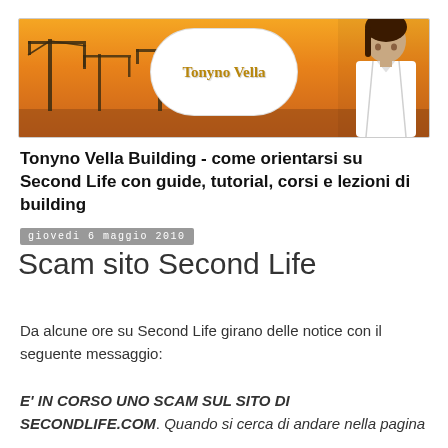[Figure (illustration): Website banner with orange sunset background, construction crane silhouettes, a white cloud-shaped speech bubble with 'Tonyno Vella' text in gold, and a 3D avatar of a man in white shirt on the right side.]
Tonyno Vella Building - come orientarsi su Second Life con guide, tutorial, corsi e lezioni di building
giovedi 6 maggio 2010
Scam sito Second Life
Da alcune ore su Second Life girano delle notice con il seguente messaggio:
E' IN CORSO UNO SCAM SUL SITO DI SECONDLIFE.COM. Quando si cerca di andare nella pagina